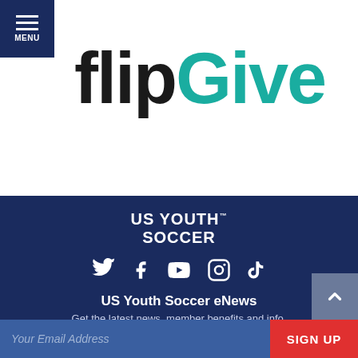[Figure (logo): FlipGive logo with 'Flip' in black and 'Give' in teal/cyan, large bold text. Navigation menu icon (hamburger) in dark navy blue square at top-left with 'MENU' text below it.]
[Figure (logo): US Youth Soccer logo in white bold uppercase text on dark navy background, with trademark symbol.]
[Figure (infographic): Social media icons row: Twitter bird, Facebook f, YouTube play button, Instagram camera, TikTok musical note — all white on dark navy background.]
US Youth Soccer eNews
Get the latest news, member benefits and info.
Your Email Address
SIGN UP